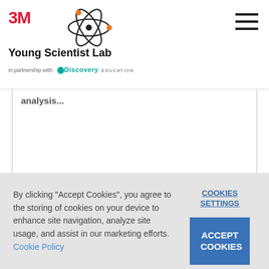3M Young Scientist Lab in partnership with Discovery Education
[Figure (logo): 3M Young Scientist Lab logo with atom icon and Discovery Education partnership]
[Figure (screenshot): White content card area, partially visible with truncated header text]
By clicking "Accept Cookies", you agree to the storing of cookies on your device to enhance site navigation, analyze site usage, and assist in our marketing efforts. Cookie Policy
COOKIES SETTINGS
ACCEPT COOKIES